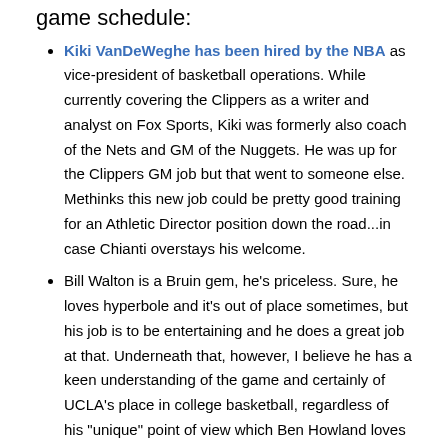game schedule:
Kiki VanDeWeghe has been hired by the NBA as vice-president of basketball operations. While currently covering the Clippers as a writer and analyst on Fox Sports, Kiki was formerly also coach of the Nets and GM of the Nuggets. He was up for the Clippers GM job but that went to someone else. Methinks this new job could be pretty good training for an Athletic Director position down the road...in case Chianti overstays his welcome.
Bill Walton is a Bruin gem, he's priceless. Sure, he loves hyperbole and it's out of place sometimes, but his job is to be entertaining and he does a great job at that. Underneath that, however, I believe he has a keen understanding of the game and certainly of UCLA's place in college basketball, regardless of his "unique" point of view which Ben Howland loves to refer to. Anyway, here is a list of the top 10 Walton quotes from the Pac-12 tournament, brought to you by Awful Announcing, which is the blog Fox wished he had created.